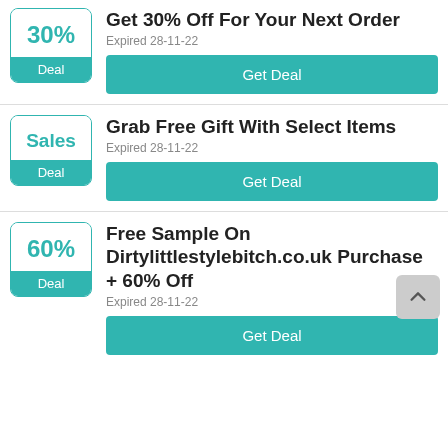[Figure (other): Deal badge with 30% and Deal label in teal]
Get 30% Off For Your Next Order
Expired 28-11-22
Get Deal
[Figure (other): Deal badge with Sales and Deal label in teal]
Grab Free Gift With Select Items
Expired 28-11-22
Get Deal
[Figure (other): Deal badge with 60% and Deal label in teal]
Free Sample On Dirtylittlestylebitch.co.uk Purchase + 60% Off
Expired 28-11-22
Get Deal